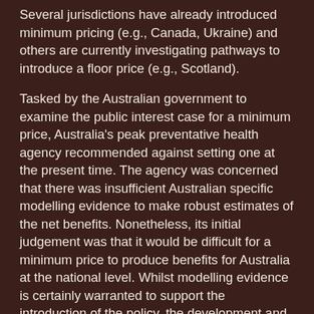Several jurisdictions have already introduced minimum pricing (e.g., Canada, Ukraine) and others are currently investigating pathways to introduce a floor price (e.g., Scotland).
Tasked by the Australian government to examine the public interest case for a minimum price, Australia's peak preventative health agency recommended against setting one at the present time. The agency was concerned that there was insufficient Australian specific modelling evidence to make robust estimates of the net benefits. Nonetheless, its initial judgement was that it would be difficult for a minimum price to produce benefits for Australia at the national level. Whilst modelling evidence is certainly warranted to support the introduction of the policy, the development and uptake of policy is influenced by more than just empirical evidence.
This article considers three potential impediments to